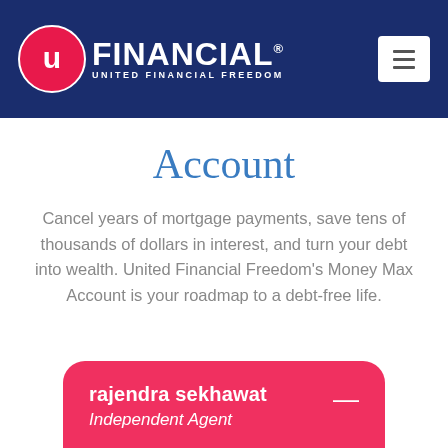[Figure (logo): United Financial Freedom logo with circular U icon on navy blue header bar, with hamburger menu button on right]
Account
Cancel years of mortgage payments, save tens of thousands of dollars in interest, and turn your debt into wealth. United Financial Freedom's Money Max Account is your roadmap to a debt-free life.
rajendra sekhawat
Independent Agent